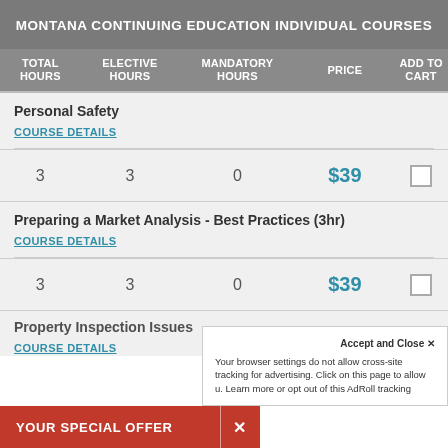MONTANA CONTINUING EDUCATION INDIVIDUAL COURSES
| TOTAL HOURS | ELECTIVE HOURS | MANDATORY HOURS | PRICE | ADD TO CART |
| --- | --- | --- | --- | --- |
| Personal Safety | COURSE DETAILS |  |  |  |
| 3 | 3 | 0 | $39 | ☐ |
| Preparing a Market Analysis - Best Practices (3hr) | COURSE DETAILS |  |  |  |
| 3 | 3 | 0 | $39 | ☐ |
| Property Inspection Issues | COURSE DETAILS |  |  |  |
Accept and Close ×
Your browser settings do not allow cross-site tracking for advertising. Click on this page to allow u. Learn more or opt out of this AdRoll tracking
YOUR SPECIAL OFFER  ×